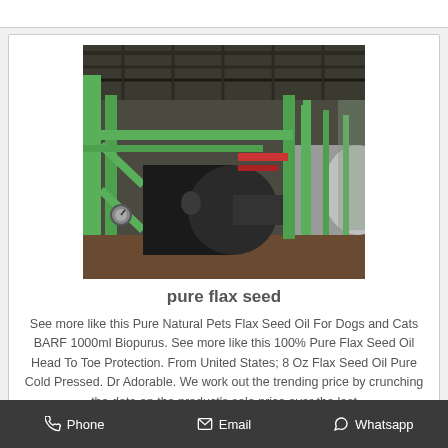[Figure (photo): Industrial factory interior showing large green metal structures, pipes, cylindrical drums/rollers on a conveyor line, with green scaffolding and machinery — appears to be a seed oil processing facility.]
pure flax seed
See more like this Pure Natural Pets Flax Seed Oil For Dogs and Cats BARF 1000ml Biopurus. See more like this 100% Pure Flax Seed Oil Head To Toe Protection. From United States; 8 Oz Flax Seed Oil Pure Cold Pressed. Dr Adorable. We work out the trending price by crunching the data on the product's sale price over the last
Phone   Email   Whatsapp